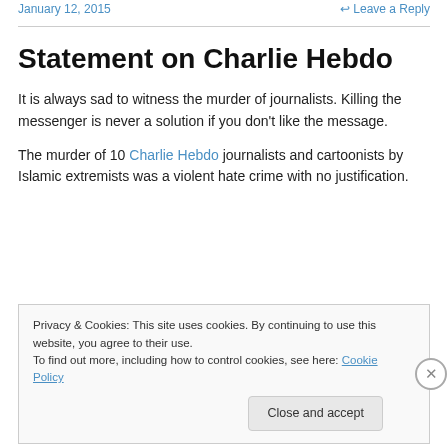January 12, 2015    Leave a Reply
Statement on Charlie Hebdo
It is always sad to witness the murder of journalists. Killing the messenger is never a solution if you don't like the message.
The murder of 10 Charlie Hebdo journalists and cartoonists by Islamic extremists was a violent hate crime with no justification.
Privacy & Cookies: This site uses cookies. By continuing to use this website, you agree to their use.
To find out more, including how to control cookies, see here: Cookie Policy